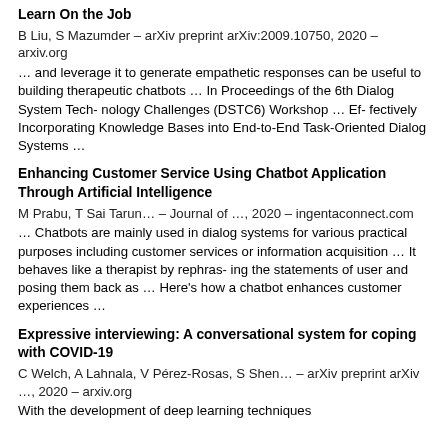Learn On the Job
B Liu, S Mazumder – arXiv preprint arXiv:2009.10750, 2020 – arxiv.org
… and leverage it to generate empathetic responses can be useful to building therapeutic chatbots … In Proceedings of the 6th Dialog System Tech- nology Challenges (DSTC6) Workshop … Ef- fectively Incorporating Knowledge Bases into End-to-End Task-Oriented Dialog Systems …
Enhancing Customer Service Using Chatbot Application Through Artificial Intelligence
M Prabu, T Sai Tarun… – Journal of …, 2020 – ingentaconnect.com
… Chatbots are mainly used in dialog systems for various practical purposes including customer services or information acquisition … It behaves like a therapist by rephras- ing the statements of user and posing them back as … Here's how a chatbot enhances customer experiences …
Expressive interviewing: A conversational system for coping with COVID-19
C Welch, A Lahnala, V Pérez-Rosas, S Shen… – arXiv preprint arXiv …, 2020 – arxiv.org
With the development of deep learning techniques